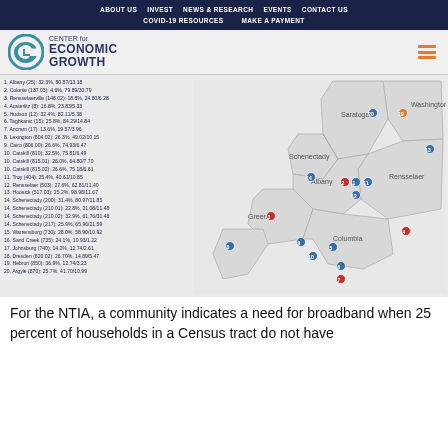ABOUT US | INVEST | NEWS & RESEARCH | EVENTS | CONTACT US | COVID-19 RESOURCES | MAKE A PAYMENT
[Figure (logo): Center for Economic Growth logo with circular G icon]
1. Albany (25): 32.3%, 80.87/13.18
2. Colonie (137.03): 4.6%, 79.89/30.79
3. Rensselaerville (148.02): 18.8%, 24.80/6.28
4. Austerlitz (8): 16.8%, 23.83/5.33
5. Hudson (12): 32.4%, 82.11/5.38
6. Taghkanic (15): 25.8%, 84.29/14.84
7. Ancram (17): 13.6%, 19.57/3.96
8. Lexington (804.02): 26.3%, 49.02/10.15
9. Cairo (806.00): 26.6%, 74.93/6.47
10. Catskill (810): 32.5%, 75.81/6.49
10. Catskill (815.01): 26.0%, 64.80/7.70
10. Catskill (815.02): 26.6%, 75.18/6.61
11. Troy (404): 25.4%, 40.61/10.85
12. Rensselaer (503): 27.6%, 62.81/11.40
13. Hoosick (517.03): 25.2%, 98.98/11.67
14. Schenectady (200): 31.4%, 80.97/11.85
14. Schenectady (210.01): 22.8%, 21.08/11.48
14. Schenectady (210.02): 32.9%, 61.76/31.48
14. Schenectady (217): 25.9%, 65.96/21.59
15. Warrensburg (730): 28.0%, 58.90/10.92
16. Sand Creek (735): 24.1%, 10.93/1.22
17. Johnsburg (740): 14.2%, 12.74/2.61
18. Dresden (820.02): 26.70%, 14.89/5.47
19. Hebron (850): 36.9%, 12.74/3.23
20. Argyle (870): 25.7%, 41.70/10.99
[Figure (map): Regional map showing numbered dots for census tracts in Albany, Schenectady, Rensselaer, Columbia, Greene, Washington, Saratoga counties. Blue dots and red/orange dots mark different tract types.]
For the NTIA, a community indicates a need for broadband when 25 percent of households in a Census tract do not have